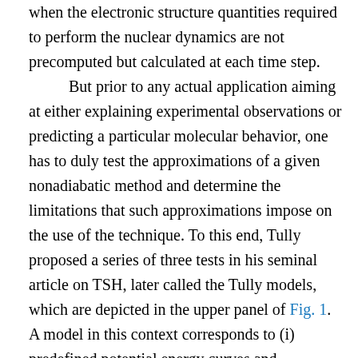when the electronic structure quantities required to perform the nuclear dynamics are not precomputed but calculated at each time step. But prior to any actual application aiming at either explaining experimental observations or predicting a particular molecular behavior, one has to duly test the approximations of a given nonadiabatic method and determine the limitations that such approximations impose on the use of the technique. To this end, Tully proposed a series of three tests in his seminal article on TSH, later called the Tully models, which are depicted in the upper panel of Fig. 1. A model in this context corresponds to (i) predefined potential energy curves and nonadiabatic couplings between electronic states – the focus here being on the nuclear dynamics and not the electronic structure – and (ii) initial conditions for the nuclear dynamics – initial position and momentum of the nuclear wavepacket/trajectories. The Tully models are one-dimensional, and the potential energy curves and couplings are expressed analytically